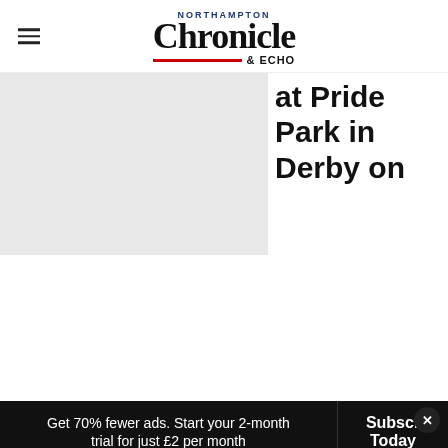Northampton Chronicle & Echo
[Figure (photo): Partial image, left side obscured by gray placeholder, right side shows partial article headline text: '...y at Pride Park in Derby on']
Saturday night, but will now take on Parker at Telford International Centre on Saturday, June 11.
The Pride Park show was postponed after headliner Demetrius Andrade suffered a shoulder injury.
Get 70% fewer ads. Start your 2-month trial for just £2 per month   Subscribe Today